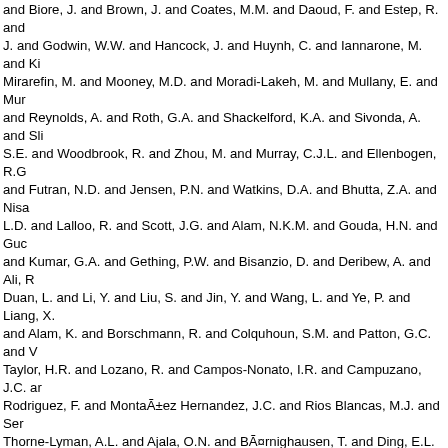and Biore, J. and Brown, J. and Coates, M.M. and Daoud, F. and Estep, R. and J. and Godwin, W.W. and Hancock, J. and Huynh, C. and Iannarone, M. and Ki Mirarefin, M. and Mooney, M.D. and Moradi-Lakeh, M. and Mullany, E. and Mur and Reynolds, A. and Roth, G.A. and Shackelford, K.A. and Sivonda, A. and Sli S.E. and Woodbrook, R. and Zhou, M. and Murray, C.J.L. and Ellenbogen, R.G and Futran, N.D. and Jensen, P.N. and Watkins, D.A. and Bhutta, Z.A. and Nisa L.D. and Lalloo, R. and Scott, J.G. and Alam, N.K.M. and Gouda, H.N. and Guc and Kumar, G.A. and Gething, P.W. and Bisanzio, D. and Deribew, A. and Ali, R Duan, L. and Li, Y. and Liu, S. and Jin, Y. and Wang, L. and Ye, P. and Liang, X. and Alam, K. and Borschmann, R. and Colquhoun, S.M. and Patton, G.C. and V Taylor, H.R. and Lozano, R. and Campos-Nonato, I.R. and Campuzano, J.C. ar Rodriguez, F. and MontaÃ±ez Hernandez, J.C. and Rios Blancas, M.J. and Ser Thorne-Lyman, A.L. and Ajala, O.N. and BÃ¤rnighausen, T. and Ding, E.L. and Shrime, M.G. and Fitchett, J.R.A. and Abate, K.H. and Gebrehiwot, T.T. and Ge Abd-Allah, F. and Abraham, B. and Abubakar, I. and Banerjee, A. and Benzian, Ackerman, I.N. and Buchbinder, R. and Gabbe, B. and Thrift, A.G. and Adebiyi, and Afanvi, K.A. and Agardh, E.E. and Badawi, A. and Popova, S. and Agarwal, Ahmadieh, H. and Yaseri, M. and Jahanmehr, N. and Al-Aly, Z. and Driscoll, T.R Aldhahri, S.F. and Altirkawi, K.A. and Alegretti, M.A. and Alemu, Z.A. and Alhabi Allebeck, P. and Rabiee, R.H.S. and Carrero, J.J. and Fereshtehnejad, S.M. an and Alsharif, U. and Alvis-Guzman, N. and Amare, A.T. and Melaku, Y.A. and Ci C.K. and Ammar, W. and Harb, H.L. and Amrock, S.M. and Andersen, H.H. and Hailu, G.B. and Yebyo, H.G. and Ã◆rnlÃ¶v, J. and Larsson, A. and Artaman, A. Avokpaho, E.F.G.A. and Avokpaho, E.F.G.A. and Awasthi, A. and Ayala Quintan A. and Barker-Collo, S.L. and Mohammed, S. and Barregard, L. and Petzold, M S. and Beghi, E. and Sheth, K.N. and Bell, M.L. and Huang, J.J. and Santos, I.S. and Wolfe, C.D. and BernabÃ©, E. and Hay, R.J. and Roba, H.S. and Beyene, Steiner, T.J. and Bhatt, S. and Greaves, F. and Majeed, A. and Soljak, M. and B A.S. and Boufous, S. and Degenhardt, L. and Resnikoff, S. and Calabria, B. an Majdan, M. and Lo, W.D. and Shen, J. and Breitborde, N.J.K. and Buckle, G.C. CÃ¡rdonas, R. and Carpenter, D.O. and CastaÃ±eda Orjuela, C.A. and Castilli